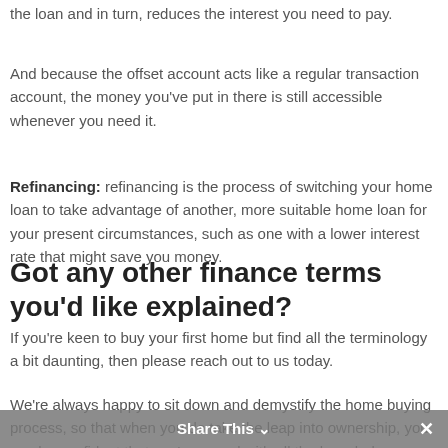the loan and in turn, reduces the interest you need to pay.
And because the offset account acts like a regular transaction account, the money you've put in there is still accessible whenever you need it.
Refinancing: refinancing is the process of switching your home loan to take advantage of another, more suitable home loan for your present circumstances, such as one with a lower interest rate that might save you money.
Got any other finance terms you'd like explained?
If you're keen to buy your first home but find all the terminology a bit daunting, then please reach out to us today.
We're always happy to sit down and demystify the home buying process, so that when you do take the leap into ownership, you can be confident that you're armed with all the knowledge you need.
Share This ✕